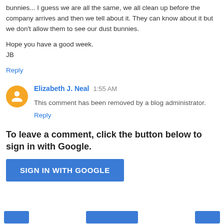bunnies... I guess we are all the same, we all clean up before the company arrives and then we tell about it. They can know about it but we don't allow them to see our dust bunnies.
Hope you have a good week.
JB
Reply
Elizabeth J. Neal  1:55 AM
This comment has been removed by a blog administrator.
Reply
To leave a comment, click the button below to sign in with Google.
SIGN IN WITH GOOGLE